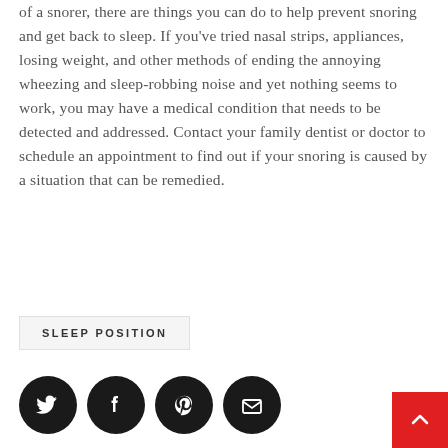of a snorer, there are things you can do to help prevent snoring and get back to sleep. If you've tried nasal strips, appliances, losing weight, and other methods of ending the annoying wheezing and sleep-robbing noise and yet nothing seems to work, you may have a medical condition that needs to be detected and addressed. Contact your family dentist or doctor to schedule an appointment to find out if your snoring is caused by a situation that can be remedied.
SLEEP POSITION
[Figure (other): Social share icons: Twitter, Facebook, Pinterest, Email — black circles with white icons. Also a red back-to-top button with upward chevron in bottom right corner.]